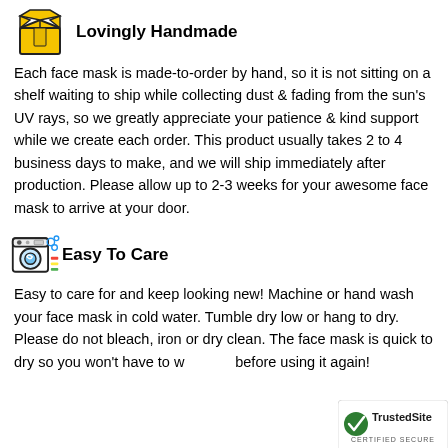Lovingly Handmade
Each face mask is made-to-order by hand, so it is not sitting on a shelf waiting to ship while collecting dust & fading from the sun's UV rays, so we greatly appreciate your patience & kind support while we create each order. This product usually takes 2 to 4 business days to make, and we will ship immediately after production. Please allow up to 2-3 weeks for your awesome face mask to arrive at your door.
Easy To Care
Easy to care for and keep looking new! Machine or hand wash your face mask in cold water. Tumble dry low or hang to dry. Please do not bleach, iron or dry clean. The face mask is quick to dry so you won't have to wait long before using it again!
[Figure (logo): TrustedSite Certified Secure badge]